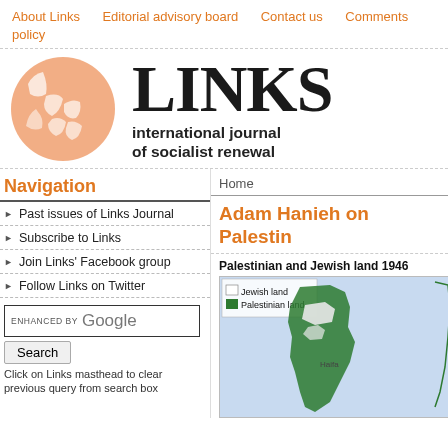About Links | Editorial advisory board | Contact us | Comments policy
[Figure (logo): LINKS international journal of socialist renewal logo with orange globe showing Australia/Asia region]
Navigation
Past issues of Links Journal
Subscribe to Links
Join Links' Facebook group
Follow Links on Twitter
ENHANCED BY Google
Search
Click on Links masthead to clear previous query from search box
Home
Adam Hanieh on Palestin
[Figure (map): Map showing Palestinian and Jewish land 1946, with legend showing Jewish land (white) and Palestinian land (green)]